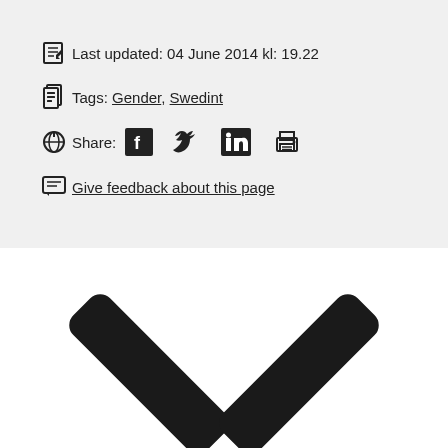Last updated: 04 June 2014 kl: 19.22
Tags: Gender, Swedint
Share: [Facebook] [Twitter] [LinkedIn] [Print]
Give feedback about this page
[Figure (illustration): A large downward-pointing chevron/arrow icon (V shape) in black, partially visible at the bottom of the page]